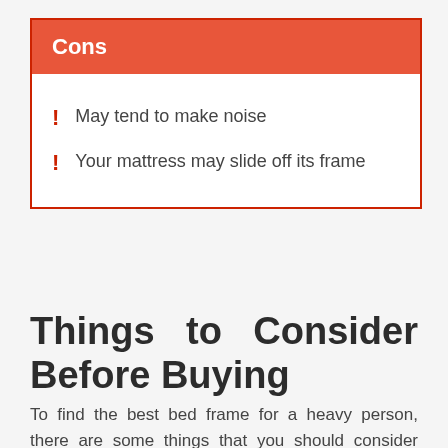Cons
May tend to make noise
Your mattress may slide off its frame
Things to Consider Before Buying
To find the best bed frame for a heavy person, there are some things that you should consider before buying to save time on your search and help you avoid wasting money on the wrong product.